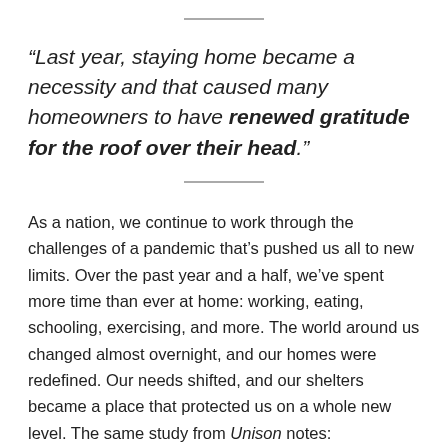“Last year, staying home became a necessity and that caused many homeowners to have renewed gratitude for the roof over their head.”
As a nation, we continue to work through the challenges of a pandemic that’s pushed us all to new limits. Over the past year and a half, we’ve spent more time than ever at home: working, eating, schooling, exercising, and more. The world around us changed almost overnight, and our homes were redefined. Our needs shifted, and our shelters became a place that protected us on a whole new level. The same study from Unison notes: